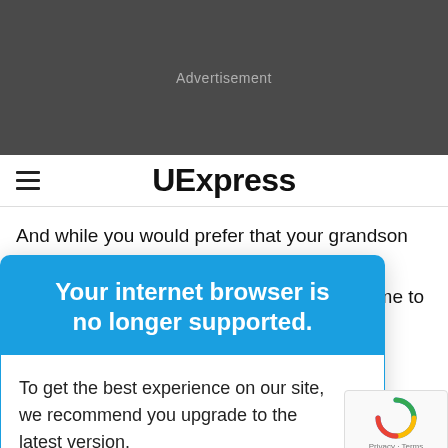Advertisement
UExpress
And while you would prefer that your grandson polish other aspects of his persona, perhaps it's time to ... nct ... end of the ... er in show
Your internet browser is no longer supported.
To get the best experience on our site, we recommend you upgrade to the latest version.